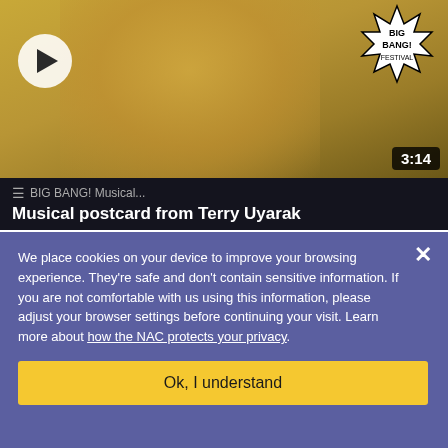[Figure (screenshot): Video thumbnail showing a person in a yellow shirt holding a guitar, with a Big Bang! Festival logo in the top right, a white play button circle on the left, and a duration badge showing 3:14 in the bottom right corner.]
≡ BIG BANG! Musical...
Musical postcard from Terry Uyarak
We place cookies on your device to improve your browsing experience. They're safe and don't contain sensitive information. If you are not comfortable with us using this information, please adjust your browser settings before continuing your visit. Learn more about how the NAC protects your privacy.
Ok, I understand